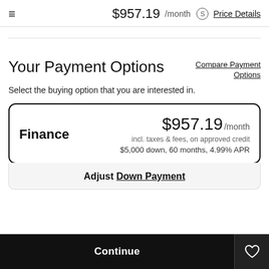$957.19 /month Price Details
Your Payment Options
Compare Payment Options
Select the buying option that you are interested in.
Finance $957.19 /month incl. taxes & fees, on approved credit $5,000 down, 60 months, 4.99% APR
Adjust Down Payment
Continue